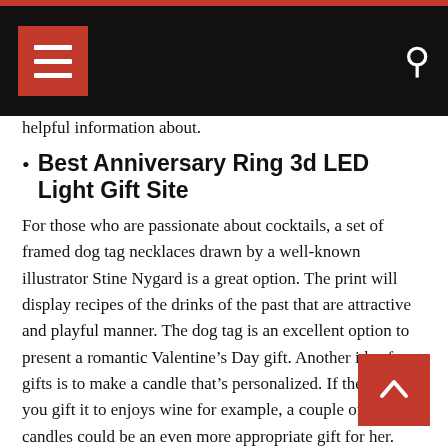helpful information about.
Best Anniversary Ring 3d LED Light Gift Site
For those who are passionate about cocktails, a set of framed dog tag necklaces drawn by a well-known illustrator Stine Nygard is a great option. The print will display recipes of the drinks of the past that are attractive and playful manner. The dog tag is an excellent option to present a romantic Valentine’s Day gift. Another idea for gifts is to make a candle that’s personalized. If the person you gift it to enjoys wine for example, a couple of scented candles could be an even more appropriate gift for her.
Get answers to all your inquiries about Best Anniversary Ring 3d LED Light Gift Site. Best Anniversary Ring 3d